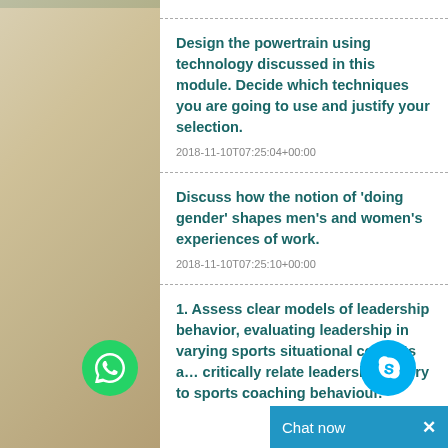Design the powertrain using technology discussed in this module. Decide which techniques you are going to use and justify your selection.
2018-11-10T07:25:04+00:00
Discuss how the notion of ‘doing gender’ shapes men’s and women’s experiences of work.
2018-11-10T07:25:10+00:00
1. Assess clear models of leadership behavior, evaluating leadership in varying sports situational contexts and critically relate leadership theory to sports coaching behaviour.
Chat now